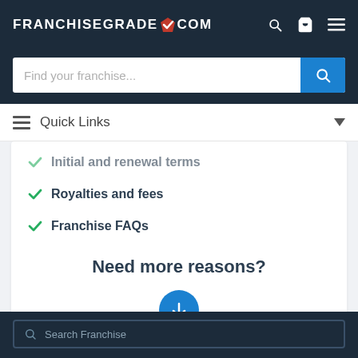[Figure (logo): FranchiseGrade.com logo with checkmark in header]
[Figure (screenshot): Search bar with 'Find your franchise...' placeholder and blue search button]
Quick Links
Initial and renewal terms
Royalties and fees
Franchise FAQs
Need more reasons?
[Figure (illustration): Blue circle with white down arrow icon]
Search Franchise footer section